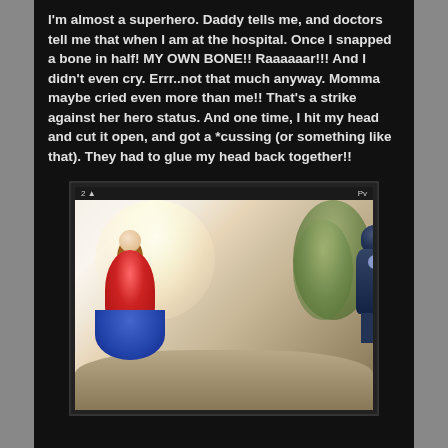I'm almost a superhero.  Daddy tells me, and doctors tell me that when I am at the hospital.  Once I snapped a bone in half!  MY OWN BONE!!  Raaaaaar!!!  And I didn't even cry. Errr..not that much anyway.  Momma maybe cried even more than me!!  That's a strike against her hero status.  And one time, I hit my head and cut it open, and got a *cussing (or something like that). They had to glue my head back together!!
[Figure (photo): A photo displayed on a tablet/phone screen showing two children in superhero costumes outdoors. A girl on the left wears a red and blue Wonder Woman style dress with long red hair, and a boy on the right wears a Captain America blue helmet and suit. They appear to be on a dirt path with trees/foliage in the background. The photo has a bright, washed-out, slightly overexposed quality.]